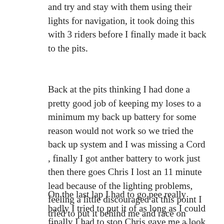and try and stay with them using their lights for navigation, it took doing this with 3 riders before I finally made it back to the pits.
Back at the pits thinking I had done a pretty good job of keeping my loses to a minimum my back up battery for some reason would not work so we tried the back up system and I was missing a Cord , finally I got anther battery to work just then there goes Chris I lost an 11 minute lead because of the lighting problems, feeling a little discouraged at this point I tried to put it behind me and race on Chris and I raced together the rest of the the day and decided together to call it a day on lap 20.
On the last lap I had to go pee really badly I tried to put it of as long as I could finally I had to stop Chris gave me a look like what are you doing but it was